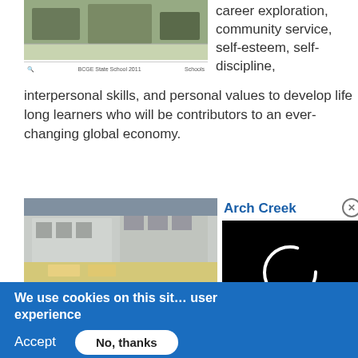[Figure (photo): Aerial view of a school campus]
BCGE State School 2011   Schools
career exploration, community service, self-esteem, self-discipline, interpersonal skills, and personal values to develop life long learners who will be contributors to an ever-changing global economy.
[Figure (photo): Aerial view of Arch Creek Elementary School building]
Arch Creek Elementary S…
[Figure (other): Black video player overlay with loading spinner]
We use cookies on this sit… user experience
By clicking the Accept button, or continuing to use our site, you consent to us doing so. More info
Accept   No, thanks